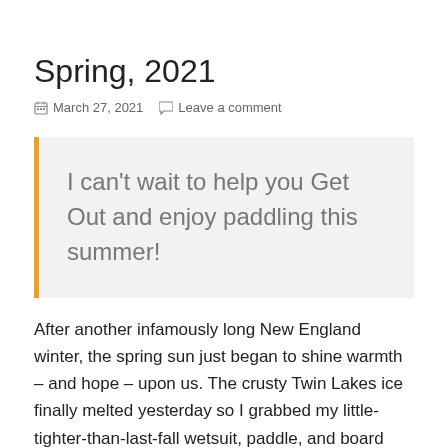Spring, 2021
March 27, 2021   Leave a comment
I can't wait to help you Get Out and enjoy paddling this summer!
After another infamously long New England winter, the spring sun just began to shine warmth – and hope – upon us. The crusty Twin Lakes ice finally melted yesterday so I grabbed my little-tighter-than-last-fall wetsuit, paddle, and board and I hopped on.